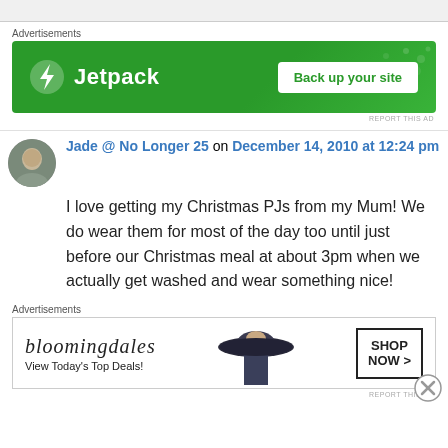[Figure (screenshot): Top gray bar clipped from previous content]
Advertisements
[Figure (other): Jetpack advertisement banner: green background, Jetpack logo with lightning bolt icon, text 'Jetpack', button 'Back up your site']
REPORT THIS AD
Jade @ No Longer 25 on December 14, 2010 at 12:24 pm
I love getting my Christmas PJs from my Mum! We do wear them for most of the day too until just before our Christmas meal at about 3pm when we actually get washed and wear something nice!
Advertisements
[Figure (other): Bloomingdales advertisement banner: white background, bloomingdales cursive logo, 'View Today's Top Deals!', woman in hat image, 'SHOP NOW >' button]